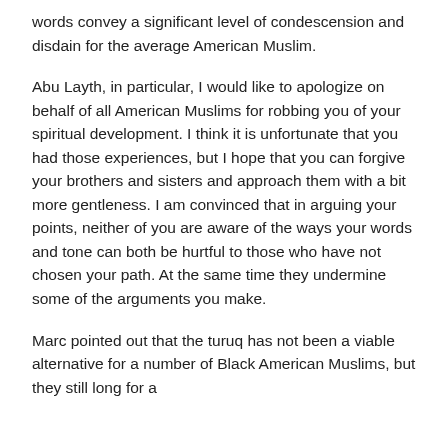words convey a significant level of condescension and disdain for the average American Muslim.
Abu Layth, in particular, I would like to apologize on behalf of all American Muslims for robbing you of your spiritual development. I think it is unfortunate that you had those experiences, but I hope that you can forgive your brothers and sisters and approach them with a bit more gentleness. I am convinced that in arguing your points, neither of you are aware of the ways your words and tone can both be hurtful to those who have not chosen your path. At the same time they undermine some of the arguments you make.
Marc pointed out that the turuq has not been a viable alternative for a number of Black American Muslims, but they still long for a